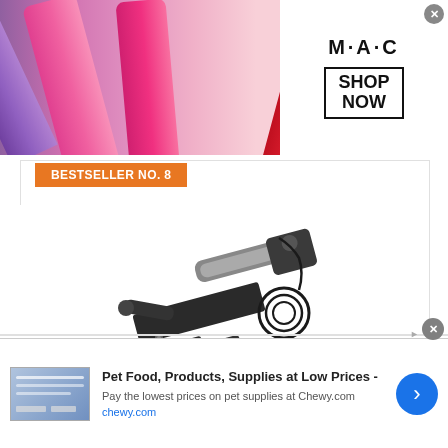[Figure (photo): MAC cosmetics advertisement banner with lipsticks, MAC logo, and SHOP NOW button]
BESTSELLER NO. 8
[Figure (photo): TCT-MT Electric Center Stand product photo showing mechanical parts, brackets, and cable]
TCT-MT Electric Center Stand Fit For Harley Touring Bagger 2009-2016
[Figure (photo): Chewy.com advertisement banner: Pet Food, Products, Supplies at Low Prices - Pay the lowest prices on pet supplies at Chewy.com]